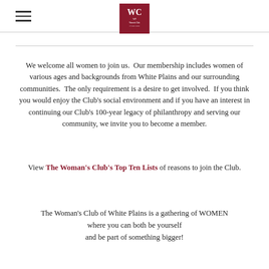[hamburger menu icon] [Women's Club of White Plains logo]
We welcome all women to join us.  Our membership includes women of various ages and backgrounds from White Plains and our surrounding communities.  The only requirement is a desire to get involved.  If you think you would enjoy the Club's social environment and if you have an interest in continuing our Club's 100-year legacy of philanthropy and serving our community, we invite you to become a member.
View The Woman's Club's Top Ten Lists of reasons to join the Club.
The Woman's Club of White Plains is a gathering of WOMEN where you can both be yourself and be part of something bigger!